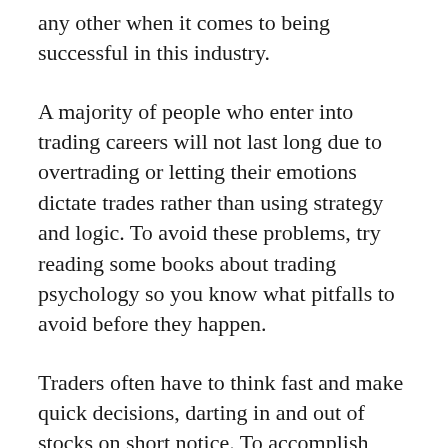any other when it comes to being successful in this industry.
A majority of people who enter into trading careers will not last long due to overtrading or letting their emotions dictate trades rather than using strategy and logic. To avoid these problems, try reading some books about trading psychology so you know what pitfalls to avoid before they happen.
Traders often have to think fast and make quick decisions, darting in and out of stocks on short notice. To accomplish this, they need a certain presence of mind that requires practice as well as confidence in oneself.